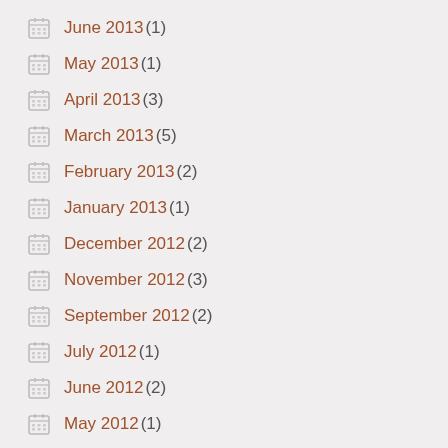June 2013 (1)
May 2013 (1)
April 2013 (3)
March 2013 (5)
February 2013 (2)
January 2013 (1)
December 2012 (2)
November 2012 (3)
September 2012 (2)
July 2012 (1)
June 2012 (2)
May 2012 (1)
March 2012 (2)
February 2012 (3)